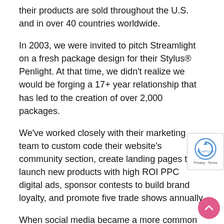their products are sold throughout the U.S. and in over 40 countries worldwide.
In 2003, we were invited to pitch Streamlight on a fresh package design for their Stylus® Penlight. At that time, we didn't realize we would be forging a 17+ year relationship that has led to the creation of over 2,000 packages.
We've worked closely with their marketing team to custom code their website's community section, create landing pages to launch new products with high ROI PPC digital ads, sponsor contests to build brand loyalty, and promote five trade shows annually.
When social media became a more common marketing tool that companies wanted and needed, Streamlight asked us to help them build their brand online. Since 2011, we've launched and manage Facebook, Instagram, Twitter,